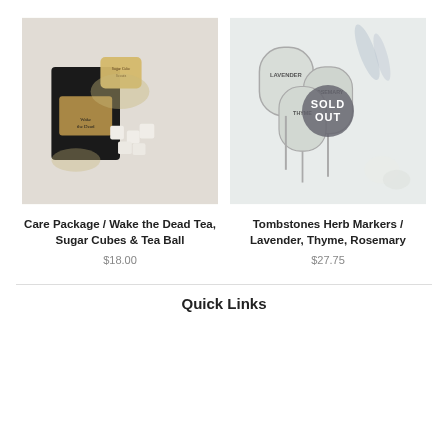[Figure (photo): Product photo: Care Package with black tea bag, sugar cubes, and decorative packaging on white wooden surface]
Care Package / Wake the Dead Tea, Sugar Cubes & Tea Ball
$18.00
[Figure (photo): Product photo: Tombstones Herb Markers for Lavender, Thyme, Rosemary with SOLD OUT badge overlay]
Tombstones Herb Markers / Lavender, Thyme, Rosemary
$27.75
Quick Links